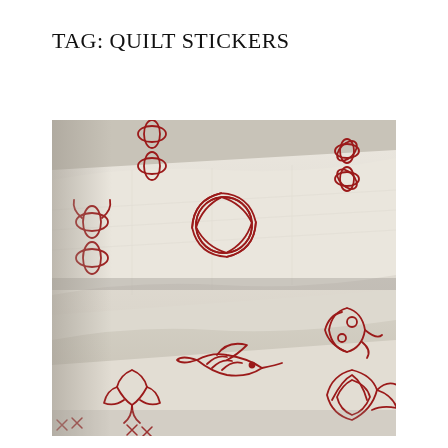TAG: QUILT STICKERS
[Figure (photo): Stack of cream-colored quilts with red embroidered floral and bird designs including flowers, leaves, and a hummingbird motif]